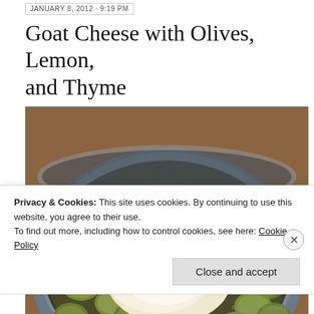JANUARY 8, 2012 · 9:19 PM
Goat Cheese with Olives, Lemon, and Thyme
[Figure (photo): A bowl filled with green and dark olives and a portion of goat cheese topped with lemon zest and thyme, photographed close-up on a wooden surface.]
Privacy & Cookies: This site uses cookies. By continuing to use this website, you agree to their use.
To find out more, including how to control cookies, see here: Cookie Policy
Close and accept
REPORT THIS AD